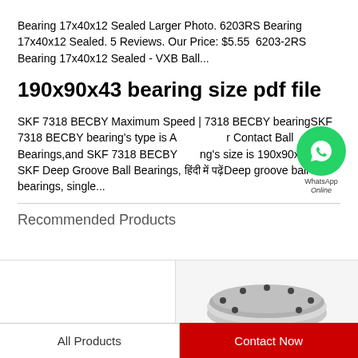Bearing 17x40x12 Sealed Larger Photo. 6203RS Bearing 17x40x12 Sealed. 5 Reviews. Our Price: $5.55  6203-2RS Bearing 17x40x12 Sealed - VXB Ball...
190x90x43 bearing size pdf file
SKF 7318 BECBY Maximum Speed | 7318 BECBY bearingSKF 7318 BECBY bearing's type is Angular Contact Ball Bearings,and SKF 7318 BECBY bearing's size is 190x90x43 6318 SKF Deep Groove Ball Bearings, हिंदी में पढ़ेंDeep groove ball bearings, single...
Recommended Products
[Figure (photo): Partial view of a ball bearing component, silver/metallic, shown in the bottom right product tile]
All Products    Contact Now